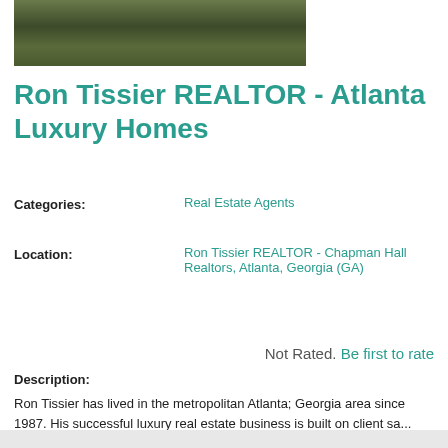[Figure (photo): Partial photo strip showing a landscape/outdoor scene with greenery and a path]
Ron Tissier REALTOR - Atlanta Luxury Homes
Categories:   Real Estate Agents
Location:   Ron Tissier REALTOR - Chapman Hall Realtors, Atlanta, Georgia (GA)
Not Rated. Be first to rate
Description:
Ron Tissier has lived in the metropolitan Atlanta; Georgia area since 1987. His successful luxury real estate business is built on client sa... See More